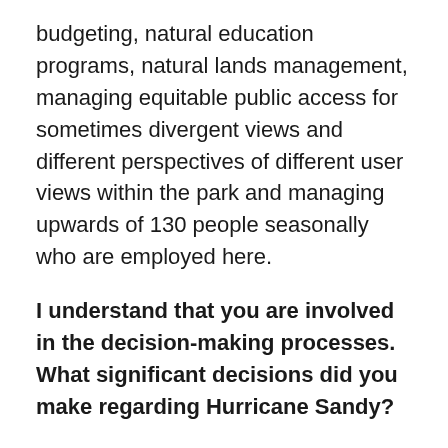budgeting, natural education programs, natural lands management, managing equitable public access for sometimes divergent views and different perspectives of different user views within the park and managing upwards of 130 people seasonally who are employed here.
I understand that you are involved in the decision-making processes. What significant decisions did you make regarding Hurricane Sandy?
To close access to the park prior to the